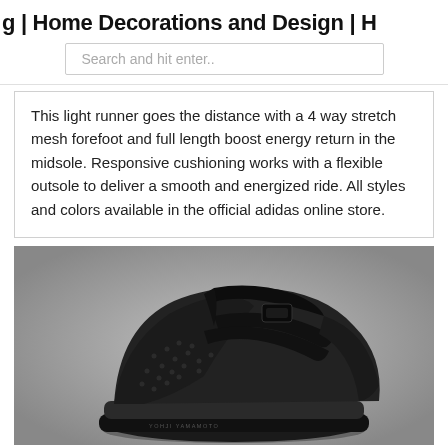g | Home Decorations and Design | H
Search and hit enter..
This light runner goes the distance with a 4 way stretch mesh forefoot and full length boost energy return in the midsole. Responsive cushioning works with a flexible outsole to deliver a smooth and energized ride. All styles and colors available in the official adidas online store.
[Figure (photo): Black Yohji Yamamoto Y-3 sneaker on grey background, featuring mesh forefoot, strap detailing, and thick black midsole/outsole with YOHJI YAMAMOTO text visible on the sole.]